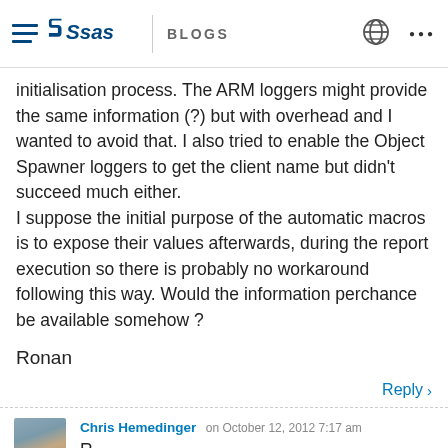SAS BLOGS
initialisation process. The ARM loggers might provide the same information (?) but with overhead and I wanted to avoid that. I also tried to enable the Object Spawner loggers to get the client name but didn't succeed much either. I suppose the initial purpose of the automatic macros is to expose their values afterwards, during the report execution so there is probably no workaround following this way. Would the information perchance be available somehow ?
Ronan
Reply
Chris Hemedinger on October 12, 2012 7:17 am
R...